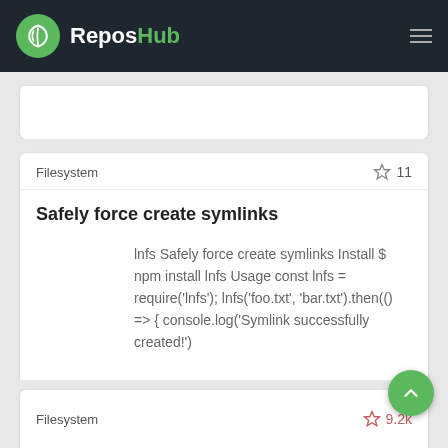ReposHub
Filesystem  ☆ 11
Safely force create symlinks
lnfs Safely force create symlinks Install $ npm install lnfs Usage const lnfs = require('lnfs'); lnfs('foo.txt', 'bar.txt').then(() =&gt; { console.log('Symlink successfully created!')
Filesystem  ☆ 9.2k